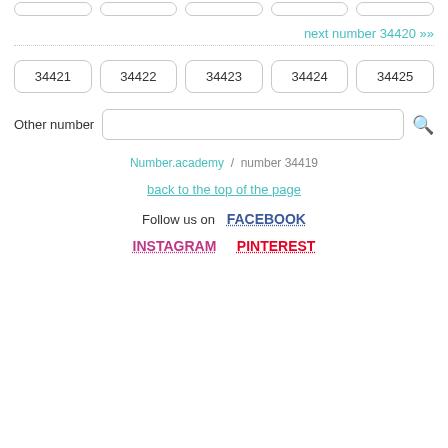top number buttons (partial, cropped at top)
next number 34420 »»
34421, 34422, 34423, 34424, 34425
Other number [search input]
Number.academy / number 34419
back to the top of the page
Follow us on FACEBOOK
INSTAGRAM  PINTEREST